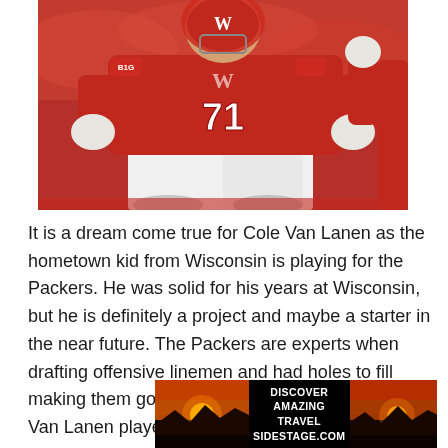[Figure (photo): Football player wearing red Wisconsin jersey number 71 in white pants, crouching in a ready stance on the field. Player is wearing white gloves and the Big Ten (B1G) logo is visible on the jersey. Background shows stadium seating and other players.]
It is a dream come true for Cole Van Lanen as the hometown kid from Wisconsin is playing for the Packers. He was solid for his years at Wisconsin, but he is definitely a project and maybe a starter in the near future. The Packers are experts when drafting offensive linemen and had holes to fill making them go heavy on that position this year. Van Lanen played some left tackle and has some versatility as well. SHe
[Figure (photo): Advertisement banner: landscape photo with sunset over rocky terrain on left and right sides, center text reads DISCOVER AMAZING TRAVEL SIDESTAGE.COM in white bold uppercase letters on dark background.]